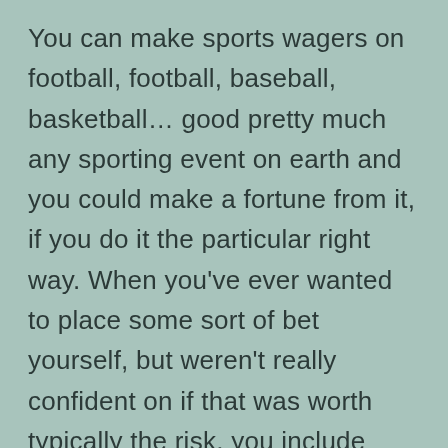You can make sports wagers on football, football, baseball, basketball… good pretty much any sporting event on earth and you could make a fortune from it, if you do it the particular right way. When you've ever wanted to place some sort of bet yourself, but weren't really confident on if that was worth typically the risk, you include arrive at the right place. Gambling in its very certainly means someone has to win and a person has to shed. What happens if you can find a way to tip typically the balance and always be within the winning part with nearly all solo bet you make.